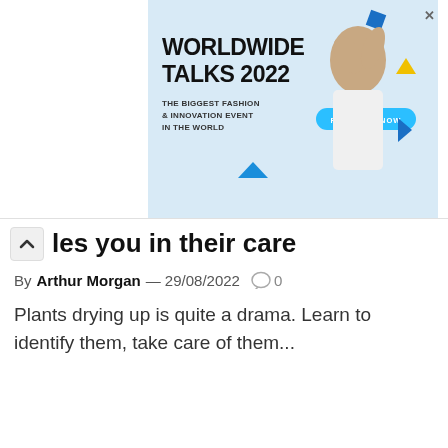[Figure (screenshot): Advertisement banner for Worldwide Talks 2022 — The Biggest Fashion & Innovation Event in the World, with a Register Now button and decorative geometric shapes and a fashion photo.]
les you in their care
By Arthur Morgan — 29/08/2022  0
Plants drying up is quite a drama. Learn to identify them, take care of them...